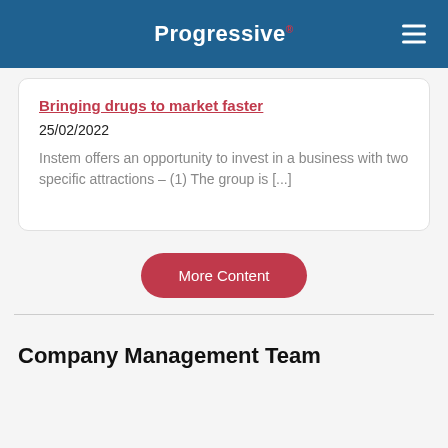Progressive
Bringing drugs to market faster
25/02/2022
Instem offers an opportunity to invest in a business with two specific attractions – (1) The group is [...]
More Content
Company Management Team